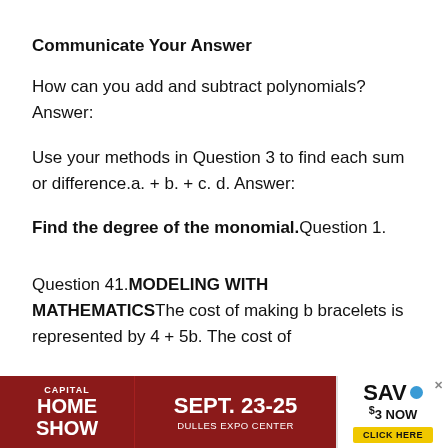Communicate Your Answer
How can you add and subtract polynomials?Answer:
Use your methods in Question 3 to find each sum or difference.a. + b. + c. d. Answer:
Find the degree of the monomial.Question 1.
Question 41.MODELING WITH MATHEMATICSThe cost of making b bracelets is represented by 4 + 5b. The cost of
[Figure (other): Capital Home Show advertisement banner. Sept. 23-25 Dulles Expo Center. Save $3 Now. Click Here.]